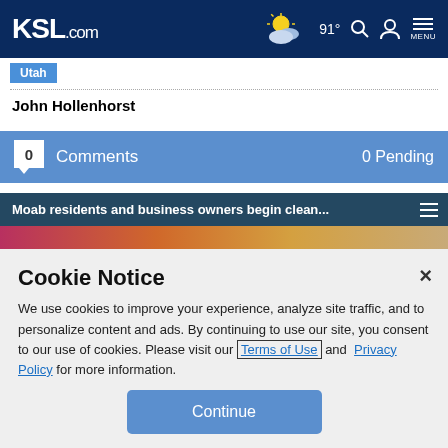KSL.com | 91° | Search | Account | Menu
Utah
John Hollenhorst
0  Comments  0 Pending
Moab residents and business owners begin clean...
Cookie Notice
We use cookies to improve your experience, analyze site traffic, and to personalize content and ads. By continuing to use our site, you consent to our use of cookies. Please visit our Terms of Use and  Privacy Policy for more information.
Continue